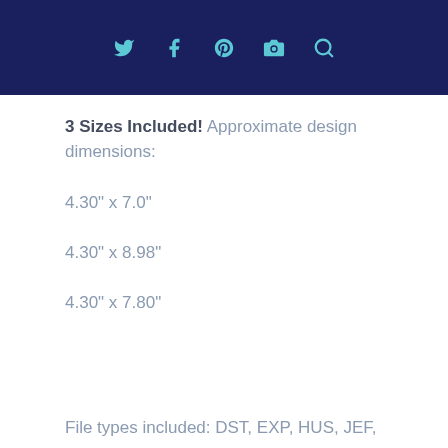Social media icons header bar
3 Sizes Included! Approximate design dimensions:
4.30" x 7.0"
4.30" x 8.98"
4.30" x 7.80"
File types included: DST, EXP, HUS, JEF,